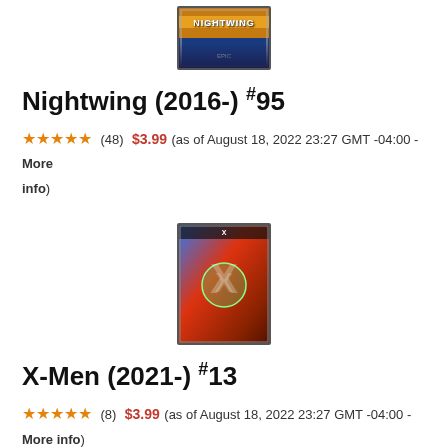[Figure (illustration): Nightwing comic book cover thumbnail at top of page]
Nightwing (2016-) #95
★★★★½ (48) $3.99 (as of August 18, 2022 23:27 GMT -04:00 - More info)
[Figure (illustration): X-Men comic book cover thumbnail showing action scene with X logo]
X-Men (2021-) #13
★★★★½ (8) $3.99 (as of August 18, 2022 23:27 GMT -04:00 - More info)